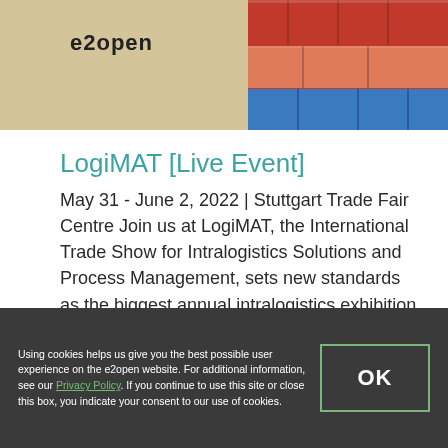e2open
[Figure (photo): Stack of colorful shipping containers seen from above/side angle, with red, blue, and orange containers visible.]
LogiMAT [Live Event]
May 31 - June 2, 2022 | Stuttgart Trade Fair Centre Join us at LogiMAT, the International Trade Show for Intralogistics Solutions and Process Management, sets new standards as the biggest annual intralogistics exhibition in Europe.
Using cookies helps us give you the best possible user experience on the e2open website. For additional information, see our Privacy Policy. If you continue to use this site or close this box, you indicate your consent to our use of cookies.